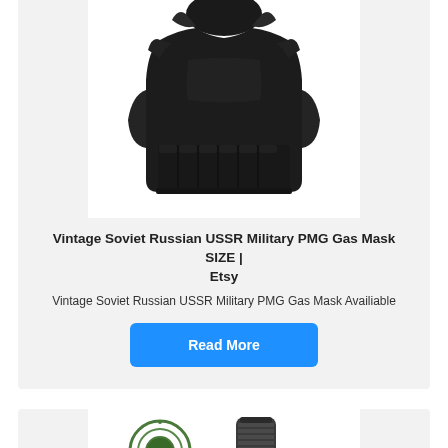[Figure (photo): Black tactical/bulletproof vest displayed from the back on a white background, showing collar, shoulder straps, and multiple front pockets/pouches]
Vintage Soviet Russian USSR Military PMG Gas Mask SIZE | Etsy
Vintage Soviet Russian USSR Military PMG Gas Mask Availiable
Read More
[Figure (photo): Partial view of a military item with a circular green/camo logo on the left and a dark cylindrical object (gas mask canister) on the right, against white background]